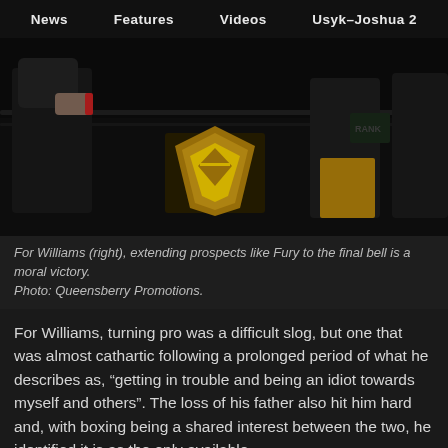News   Features   Videos   Usyk–Joshua 2
[Figure (photo): Boxing scene showing fighters near the ring ropes, with a gold championship belt visible in the center. Dark arena setting with sponsor logos visible in the background.]
For Williams (right), extending prospects like Fury to the final bell is a moral victory.
Photo: Queensberry Promotions.
For Williams, turning pro was a difficult slog, but one that was almost cathartic following a prolonged period of what he describes as, “getting in trouble and being an idiot towards myself and others”. The loss of his father also hit him hard and, with boxing being a shared interest between the two, he identified it is as the only available